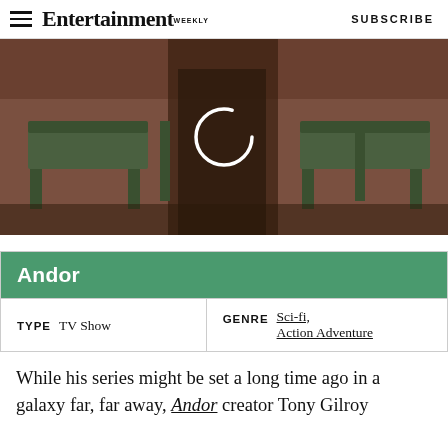Entertainment Weekly  SUBSCRIBE
[Figure (photo): A figure in a dark brown leather coat standing in an industrial-looking setting with benches in the background. A loading spinner circle is overlaid in the center.]
| Andor |
| --- |
| TYPE  TV Show | GENRE  Sci-fi, Action Adventure |
While his series might be set a long time ago in a galaxy far, far away, Andor creator Tony Gilroy